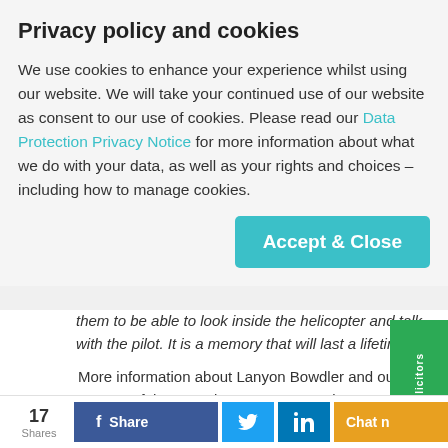Privacy policy and cookies
We use cookies to enhance your experience whilst using our website. We will take your continued use of our website as consent to our use of cookies. Please read our Data Protection Privacy Notice for more information about what we do with your data, as well as your rights and choices – including how to manage cookies.
them to be able to look inside the helicopter and talk with the pilot. It is a memory that will last a lifetime."
More information about Lanyon Bowdler and our support of the Armed Forces Community Covenant can be found here:
https://www.lblaw.co.uk/about-us/our-community